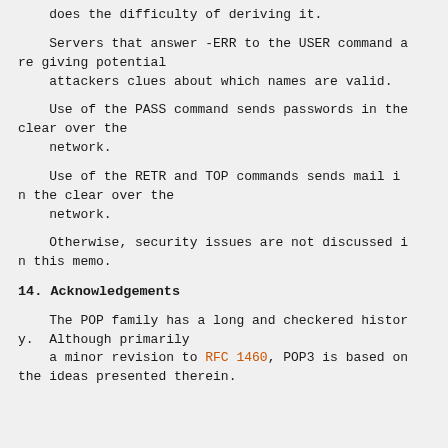does the difficulty of deriving it.
Servers that answer -ERR to the USER command are giving potential attackers clues about which names are valid.
Use of the PASS command sends passwords in the clear over the network.
Use of the RETR and TOP commands sends mail in the clear over the network.
Otherwise, security issues are not discussed in this memo.
14. Acknowledgements
The POP family has a long and checkered history.  Although primarily a minor revision to RFC 1460, POP3 is based on the ideas presented therein.